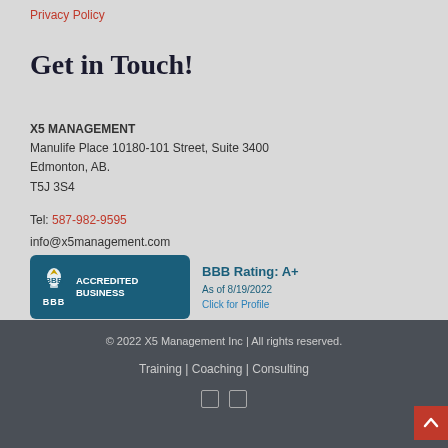Privacy Policy
Get in Touch!
X5 MANAGEMENT
Manulife Place 10180-101 Street, Suite 3400
Edmonton, AB.
T5J 3S4
Tel: 587-982-9595
info@x5management.com
[Figure (logo): BBB Accredited Business logo with BBB Rating A+ as of 8/19/2022, Click for Profile]
© 2022 X5 Management Inc | All rights reserved.
Training | Coaching | Consulting